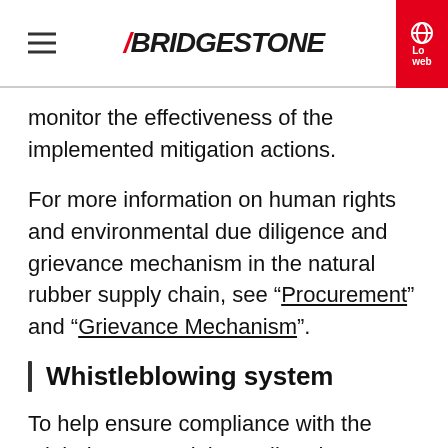BRIDGESTONE
monitor the effectiveness of the implemented mitigation actions.
For more information on human rights and environmental due diligence and grievance mechanism in the natural rubber supply chain, see “Procurement” and “Grievance Mechanism”.
Whistleblowing system
To help ensure compliance with the Global Human Rights Policy, the BridgeLine, a